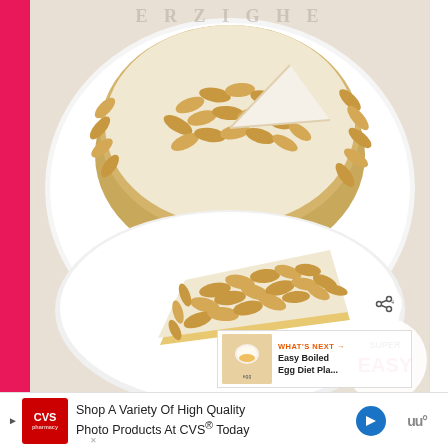[Figure (photo): A round cake with sliced almonds pressed into white frosting on a white cake stand. A slice has been cut and placed on a white plate in the foreground. The cake is decorated entirely with toasted sliced almonds on the sides and top. There is a watermark/logo text partially visible at the top, and 'WHAT'S NEXT' overlay with 'Easy Boiled Egg Diet Pla...' thumbnail in the lower right. A circular 'SUPER EASY' badge is partially visible at the bottom right of the photo.]
WHAT'S NEXT → Easy Boiled Egg Diet Pla...
Shop A Variety Of High Quality Photo Products At CVS® Today